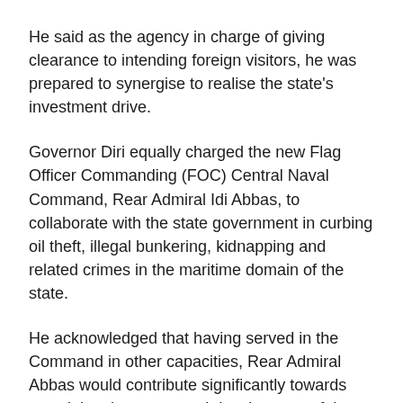He said as the agency in charge of giving clearance to intending foreign visitors, he was prepared to synergise to realise the state's investment drive.
Governor Diri equally charged the new Flag Officer Commanding (FOC) Central Naval Command, Rear Admiral Idi Abbas, to collaborate with the state government in curbing oil theft, illegal bunkering, kidnapping and related crimes in the maritime domain of the state.
He acknowledged that having served in the Command in other capacities, Rear Admiral Abbas would contribute significantly towards sustaining the peace and development of the state.